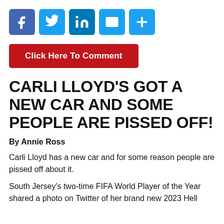[Figure (infographic): Social media share icons: Facebook (blue), Twitter (light blue), LinkedIn (blue), Email (light blue), Plus/More (light blue)]
Click Here To Comment
CARLI LLOYD'S GOT A NEW CAR AND SOME PEOPLE ARE PISSED OFF!
By Annie Ross
Carli Lloyd has a new car and for some reason people are pissed off about it.
South Jersey's two-time FIFA World Player of the Year shared a photo on Twitter of her brand new 2023 Hell...